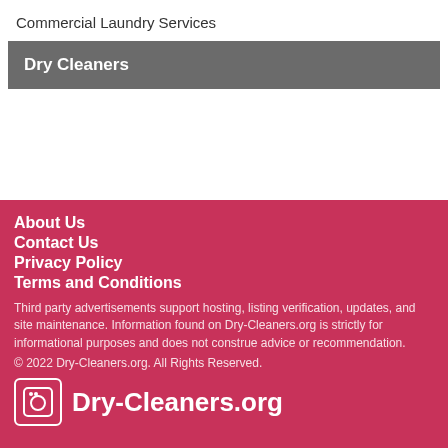Commercial Laundry Services
Dry Cleaners
About Us
Contact Us
Privacy Policy
Terms and Conditions
Third party advertisements support hosting, listing verification, updates, and site maintenance. Information found on Dry-Cleaners.org is strictly for informational purposes and does not construe advice or recommendation.
© 2022 Dry-Cleaners.org. All Rights Reserved.
Dry-Cleaners.org